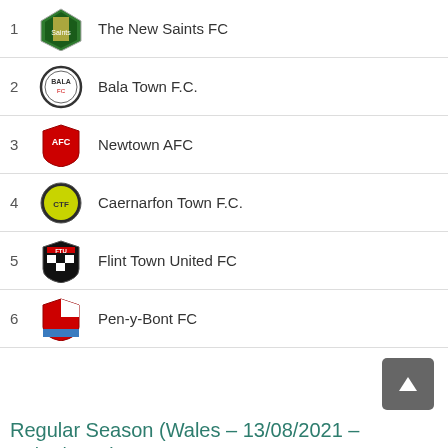1 The New Saints FC
2 Bala Town F.C.
3 Newtown AFC
4 Caernarfon Town F.C.
5 Flint Town United FC
6 Pen-y-Bont FC
Regular Season (Wales - 13/08/2021 - 26/02/2022)
Classification
| Team | Pts | MP | W | D | L | GF | GA | diff |
| --- | --- | --- | --- | --- | --- | --- | --- | --- |